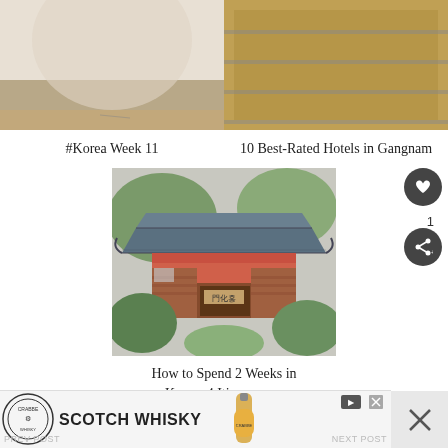[Figure (photo): Top-left photo partially visible, tan/beige tones, appears to be a travel photo from Korea Week 11]
[Figure (photo): Top-right photo partially visible, showing shelves or rows, golden/brown tones, related to hotels in Gangnam]
#Korea Week 11
10 Best-Rated Hotels in Gangnam
[Figure (photo): Traditional Korean palace/temple building with blue-grey tiled roofs, red pillars, ornate architecture, gate with Chinese characters, surrounded by trees]
How to Spend 2 Weeks in Korea: 4 Itinerary …
[Figure (screenshot): Advertisement bar at the bottom showing Scotch Whisky ad with a whisky bottle (Crabbe brand), circular badge logo, with close buttons and navigation arrows]